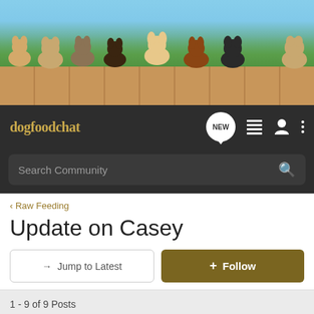[Figure (photo): Banner image showing multiple dogs of various breeds peeking over a wooden fence with trees and sky in background]
dogfoodchat
Search Community
< Raw Feeding
Update on Casey
→ Jump to Latest
+ Follow
1 - 9 of 9 Posts
BGBY · Registered
Joined Sep 21, 2009 · 154 Posts